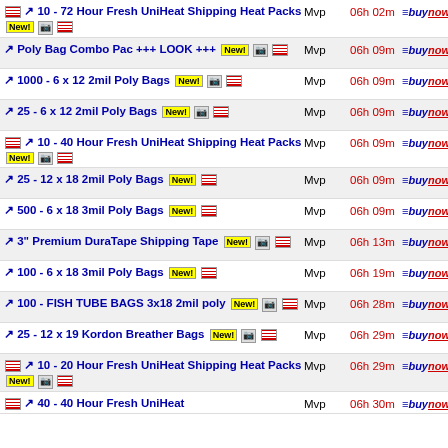10 - 72 Hour Fresh UniHeat Shipping Heat Packs | Mvp | 06h 02m | buynow | 27.99
Poly Bag Combo Pac +++ LOOK +++ | Mvp | 06h 09m | buynow | 6.50
1000 - 6 x 12 2mil Poly Bags | Mvp | 06h 09m | buynow | 49.95
25 - 6 x 12 2mil Poly Bags | Mvp | 06h 09m | buynow | 1.95
10 - 40 Hour Fresh UniHeat Shipping Heat Packs | Mvp | 06h 09m | buynow | 19.99
25 - 12 x 18 2mil Poly Bags | Mvp | 06h 09m | buynow | 4.50
500 - 6 x 18 3mil Poly Bags | Mvp | 06h 09m | buynow | 37.99
3" Premium DuraTape Shipping Tape | Mvp | 06h 13m | buynow | 5.99
100 - 6 x 18 3mil Poly Bags | Mvp | 06h 19m | buynow | 8.25
100 - FISH TUBE BAGS 3x18 2mil poly | Mvp | 06h 28m | buynow | 6.00
25 - 12 x 19 Kordon Breather Bags | Mvp | 06h 29m | buynow | 46.49
10 - 20 Hour Fresh UniHeat Shipping Heat Packs | Mvp | 06h 29m | buynow | 17.95
40 - 40 Hour Fresh UniHeat | Mvp | 06h 30m | buynow | 42.99